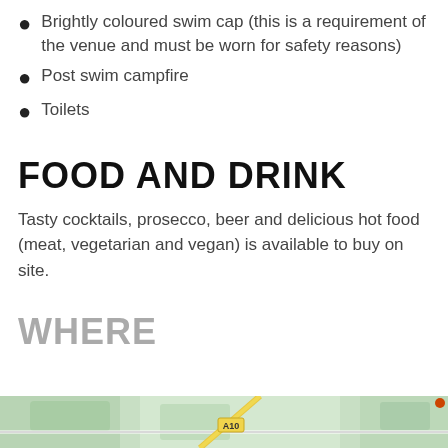Brightly coloured swim cap (this is a requirement of the venue and must be worn for safety reasons)
Post swim campfire
Toilets
FOOD AND DRINK
Tasty cocktails, prosecco, beer and delicious hot food (meat, vegetarian and vegan) is available to buy on site.
WHERE
[Figure (map): Street map snippet showing road A10 and surrounding area with green spaces]